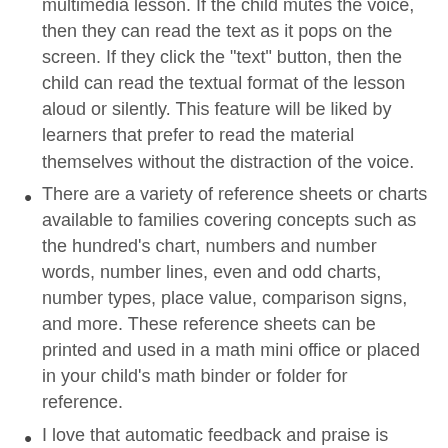multimedia lesson. If the child mutes the voice, then they can read the text as it pops on the screen. If they click the "text" button, then the child can read the textual format of the lesson aloud or silently. This feature will be liked by learners that prefer to read the material themselves without the distraction of the voice.
There are a variety of reference sheets or charts available to families covering concepts such as the hundred's chart, numbers and number words, number lines, even and odd charts, number types, place value, comparison signs, and more. These reference sheets can be printed and used in a math mini office or placed in your child's math binder or folder for reference.
I love that automatic feedback and praise is given to the child as they work through the interactive question section. The child immediately finds out if their answers are correct or incorrect. They are also praised for doing the work correctly with sound effects with a half of a with a